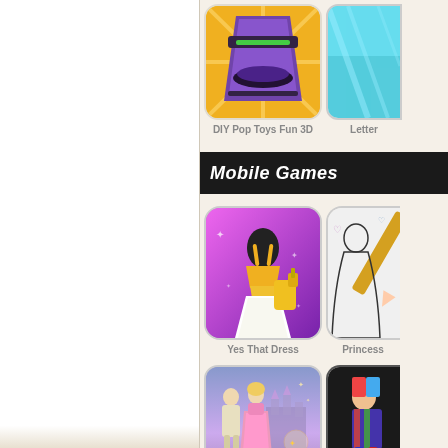[Figure (screenshot): Left white sidebar area of a game listing website]
[Figure (screenshot): DIY Pop Toys Fun 3D game thumbnail - purple toy press on yellow/orange background]
DIY Pop Toys Fun 3D
[Figure (screenshot): Letter game thumbnail - partially visible, teal/blue background]
Letter
Mobile Games
[Figure (screenshot): Yes That Dress game thumbnail - dress on mannequin with yellow gown on purple background]
Yes That Dress
[Figure (screenshot): Princess game thumbnail - partially visible, coloring book style princess]
Princess
[Figure (screenshot): Cinderella style game thumbnail - prince and princess with castle in background]
[Figure (screenshot): Second bottom row game thumbnail - partially visible dark background]